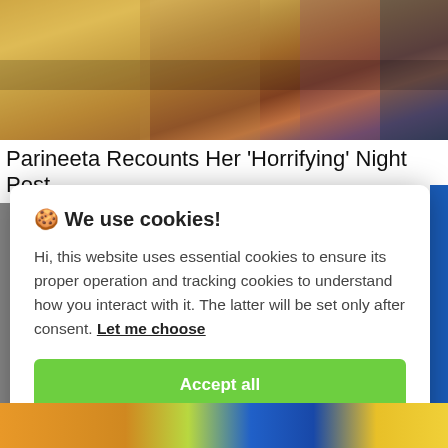[Figure (photo): Background photo showing draped fabric or clothing in warm golden/brown tones with dark areas]
Parineeta Recounts Her 'Horrifying' Night Post
🍪 We use cookies!

Hi, this website uses essential cookies to ensure its proper operation and tracking cookies to understand how you interact with it. The latter will be set only after consent. Let me choose

[Accept all]

[Reject all]